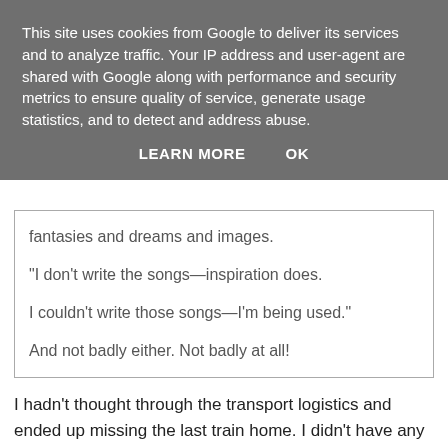This site uses cookies from Google to deliver its services and to analyze traffic. Your IP address and user-agent are shared with Google along with performance and security metrics to ensure quality of service, generate usage statistics, and to detect and address abuse.
LEARN MORE    OK
fantasies and dreams and images.
"I don't write the songs—inspiration does.

I couldn't write those songs—I'm being used."

And not badly either. Not badly at all!
I hadn't thought through the transport logistics and ended up missing the last train home. I didn't have any money to speak of, certainly not enough for a taxi or a hotel.
I had somehow picked up from my father the bizarre idea